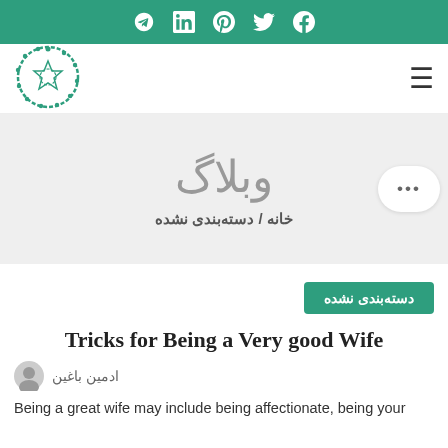Social icons bar: Telegram, LinkedIn, Pinterest, Twitter, Facebook
[Figure (logo): Circular decorative logo with geometric pattern in teal/green color]
وبلاگ
خانه / دسته‌بندی نشده
دسته‌بندی نشده
Tricks for Being a Very good Wife
ادمین باغین
Being a great wife may include being affectionate, being your